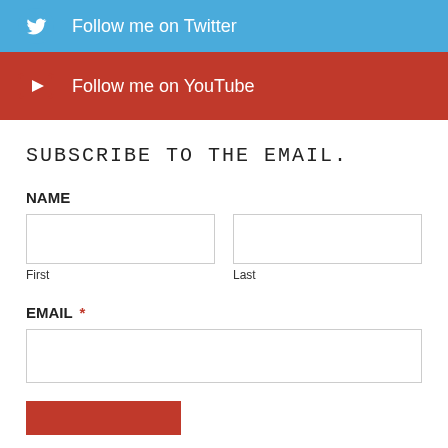[Figure (illustration): Twitter follow button bar — blue background with Twitter bird icon and text 'Follow me on Twitter']
[Figure (illustration): YouTube follow button bar — red background with YouTube play button icon and text 'Follow me on YouTube']
SUBSCRIBE TO THE EMAIL.
NAME
First
Last
EMAIL *